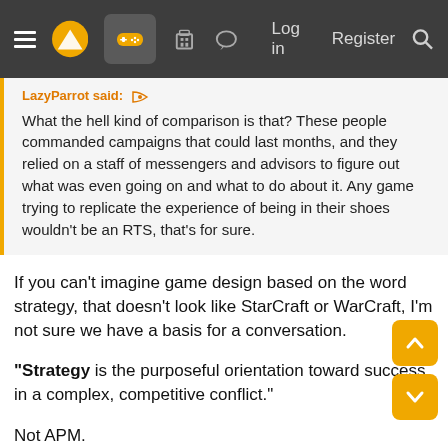Navigation bar with hamburger menu, logo, gamepad icon, building icon, chat icon, Log in, Register, Search
LazyParrot said: [quote icon]
What the hell kind of comparison is that? These people commanded campaigns that could last months, and they relied on a staff of messengers and advisors to figure out what was even going on and what to do about it. Any game trying to replicate the experience of being in their shoes wouldn't be an RTS, that's for sure.
If you can't imagine game design based on the word strategy, that doesn't look like StarCraft or WarCraft, I'm not sure we have a basis for a conversation.
"Strategy is the purposeful orientation toward success in a complex, competitive conflict."
Not APM.
That's one definition of the word strategy found on West Points website. It's pretty large isn't it?